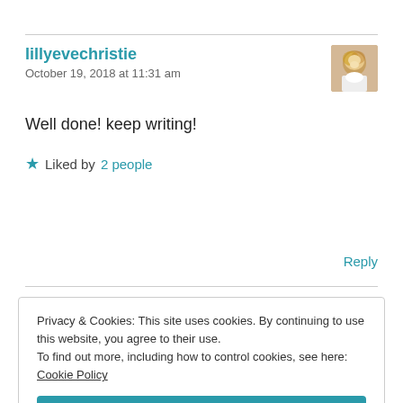lillyevechristie
October 19, 2018 at 11:31 am
[Figure (photo): Avatar photo of lillyevechristie, a woman with curly blonde hair]
Well done! keep writing!
Liked by 2 people
Reply
Privacy & Cookies: This site uses cookies. By continuing to use this website, you agree to their use.
To find out more, including how to control cookies, see here: Cookie Policy
Close and accept